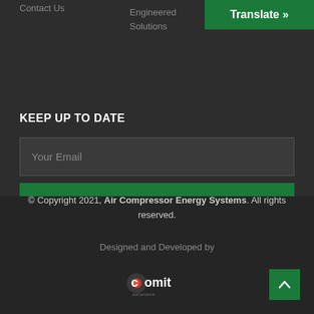Contact Us
Engineered
Solutions
Translate »
KEEP UP TO DATE
Your Email
SUBSCRIBE
© Copyright 2021, Air Compressor Energy Systems. All rights reserved.
Designed and Developed by
[Figure (logo): Comit logo – stylized letter C with red dot forming the 'o', 'omit' text in white, small tagline below]
↑